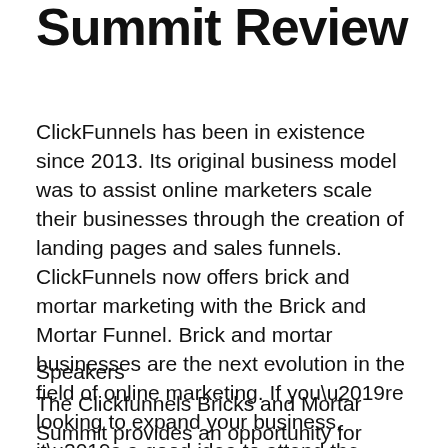Summit Review
ClickFunnels has been in existence since 2013. Its original business model was to assist online marketers scale their businesses through the creation of landing pages and sales funnels. ClickFunnels now offers brick and mortar marketing with the Brick and Mortar Funnel. Brick and mortar businesses are the next evolution in the field of online marketing. If you’re looking to expand your business, it’s a good idea to attend the event.
Speakers
The Clickfunnels Bricks and Mortar Summit provides an opportunity for entrepreneurs who run online businesses to learn from the